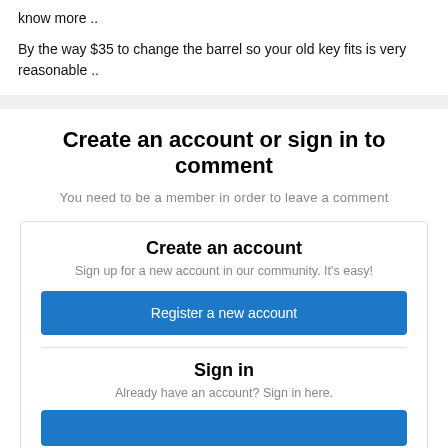know more ..
By the way $35 to change the barrel so your old key fits is very reasonable ..
Create an account or sign in to comment
You need to be a member in order to leave a comment
Create an account
Sign up for a new account in our community. It's easy!
Register a new account
Sign in
Already have an account? Sign in here.